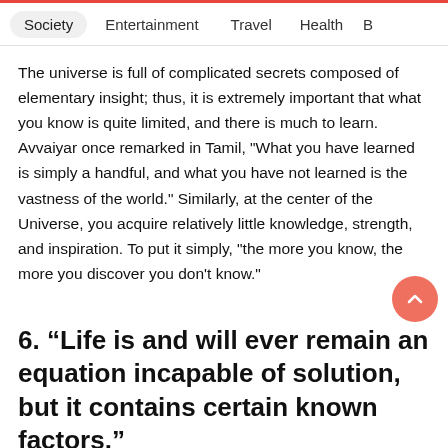Society  Entertainment  Travel  Health  B
The universe is full of complicated secrets composed of elementary insight; thus, it is extremely important that what you know is quite limited, and there is much to learn. Avvaiyar once remarked in Tamil, "What you have learned is simply a handful, and what you have not learned is the vastness of the world." Similarly, at the center of the Universe, you acquire relatively little knowledge, strength, and inspiration. To put it simply, "the more you know, the more you discover you don't know."
6. “Life is and will ever remain an equation incapable of solution, but it contains certain known factors.”